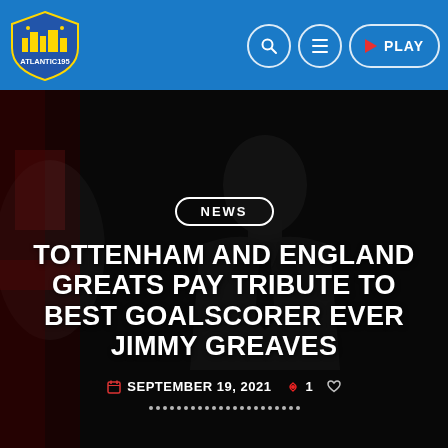Atlantic195 — navigation header with logo, search, menu, and PLAY button
[Figure (photo): Dark hero image showing an elderly man in a suit against a blurred England football backdrop, heavily darkened with overlay]
NEWS
TOTTENHAM AND ENGLAND GREATS PAY TRIBUTE TO BEST GOALSCORER EVER JIMMY GREAVES
SEPTEMBER 19, 2021  1